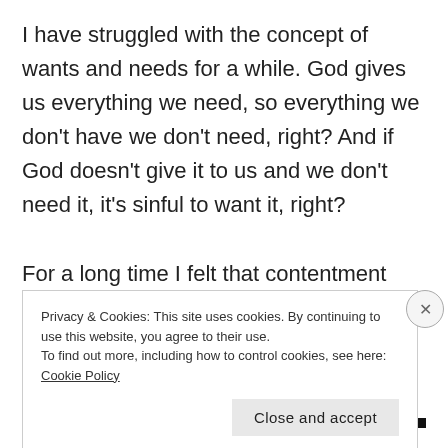I have struggled with the concept of wants and needs for a while. God gives us everything we need, so everything we don't have we don't need, right? And if God doesn't give it to us and we don't need it, it's sinful to want it, right?

For a long time I felt that contentment meant being completely satisfied with what you have. This means that any desire for something one
Privacy & Cookies: This site uses cookies. By continuing to use this website, you agree to their use.
To find out more, including how to control cookies, see here: Cookie Policy
Close and accept